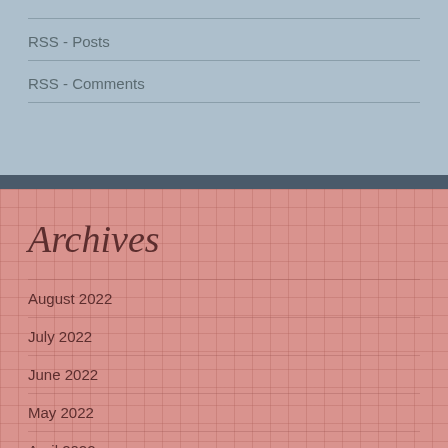RSS - Posts
RSS - Comments
Archives
August 2022
July 2022
June 2022
May 2022
April 2022